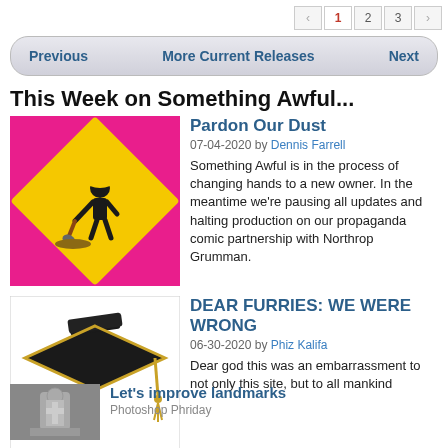‹ 1 2 3 ›
Previous | More Current Releases | Next
This Week on Something Awful...
Pardon Our Dust
07-04-2020 by Dennis Farrell
Something Awful is in the process of changing hands to a new owner. In the meantime we're pausing all updates and halting production on our propaganda comic partnership with Northrop Grumman.
DEAR FURRIES: WE WERE WRONG
06-30-2020 by Phiz Kalifa
Dear god this was an embarrassment to not only this site, but to all mankind
Let's improve landmarks
Photoshop Phriday
Landmarks and statues around the world: old, boring and could use an update.
Make Horror Wholesome
Photoshop Phriday